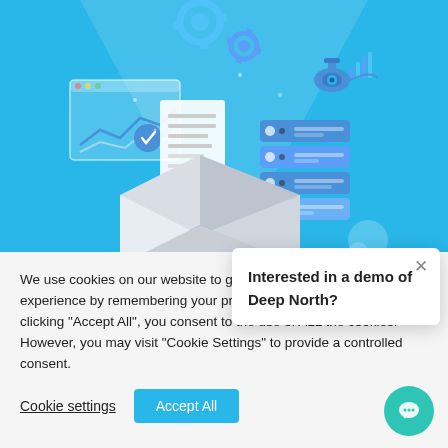[Figure (illustration): Blue background hero illustration showing an open box with documents, a chart/analytics screen, server rack stack, security camera, gear icons, and bar chart icons floating above the box on a light blue background.]
We use cookies on our website to give you the most relevant experience by remembering your preferences and repeat visits. By clicking "Accept All", you consent to the use of ALL the cookies. However, you may visit "Cookie Settings" to provide a controlled consent.
Cookie settings
Accept All
Interested in a demo of Deep North?
×